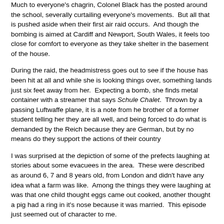Much to everyone's chagrin, Colonel Black has the posted around the school, severally curtailing everyone's movements.  But all that is pushed aside when their first air raid occurs.  And though the bombing is aimed at Cardiff and Newport, South Wales, it feels too close for comfort to everyone as they take shelter in the basement of the house.
During the raid, the headmistress goes out to see if the house has been hit at all and while she is looking things over, something lands just six feet away from her.  Expecting a bomb, she finds metal container with a streamer that says Schule Chalet.  Thrown by a passing Luftwaffe plane, it is a note from he brother of a former student telling her they are all well, and being forced to do what is demanded by the Reich because they are German, but by no means do they support the actions of their country
I was surprised at the depiction of some of the prefects laughing at stories about some evacuees in the area.  These were described as around 6, 7 and 8 years old, from London and didn't have any idea what a farm was like.  Among the things they were laughing at was that one child thought eggs came out cooked, another thought a pig had a ring in it's nose because it was married.  This episode just seemed out of character to me.
Aside from this slightly far-fetched event, I found The Chalet School Goes to It to be an interesting novel.  Doing without because of food, walking or riding a bike great distances because of gas rationing, soldiers stations in the area, suspicions that quislings and saboteurs are a foot all reflect life in Britain during the early days of World War II.  There is even an incidence of former student and friend of Jo's, Frieda von Ahlen (formerly Mensch) being put into a internment camp on the Isle of Man, a not very well publicized practice in Britain for dealing with aliens.